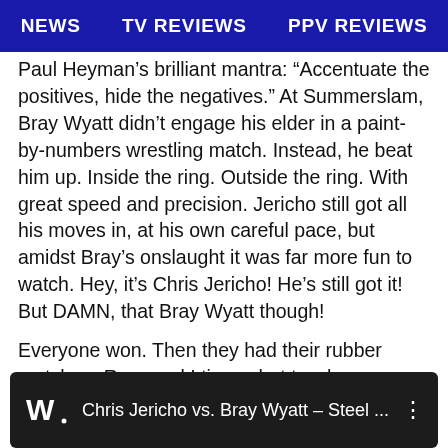NEWS   TV REVIEWS   PPV REVIEWS
Paul Heyman’s brilliant mantra: “Accentuate the positives, hide the negatives.” At Summerslam, Bray Wyatt didn’t engage his elder in a paint-by-numbers wrestling match. Instead, he beat him up. Inside the ring. Outside the ring. With great speed and precision. Jericho still got all his moves in, at his own careful pace, but amidst Bray’s onslaught it was far more fun to watch. Hey, it’s Chris Jericho! He’s still got it! But DAMN, that Bray Wyatt though!
Everyone won. Then they had their rubber match on Raw, and I tip my hat to whoever decided that a steel cage was the way to go:
[Figure (screenshot): Video thumbnail showing WWE logo and title: Chris Jericho vs. Bray Wyatt – Steel ...]